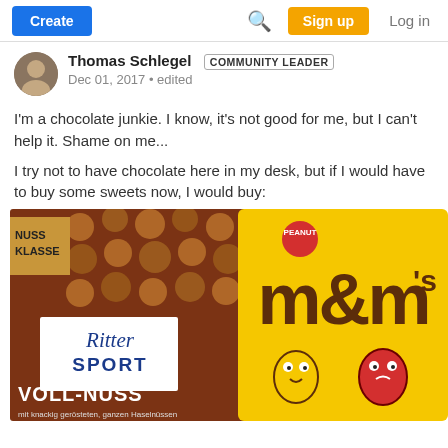Create | [search icon] | Sign up | Log in
Thomas Schlegel  COMMUNITY LEADER
Dec 01, 2017 • edited
I'm a chocolate junkie. I know, it's not good for me, but I can't help it. Shame on me...
I try not to have chocolate here in my desk, but if I would have to buy some sweets now, I would buy:
[Figure (photo): Photo of two chocolate products: Ritter Sport Voll-Nuss chocolate bar (NUSS KLASSE, mit knackig gerösteten, ganzen Haselnüssen) and a yellow M&M's Peanut bag]